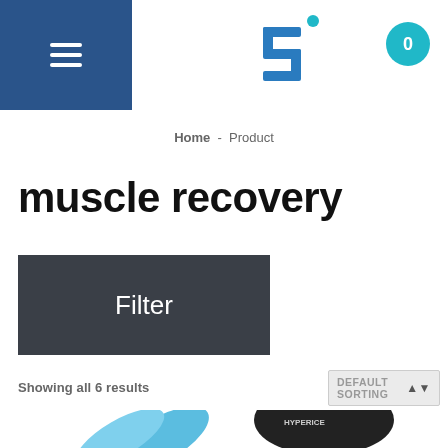[Figure (screenshot): Navigation header with hamburger menu button on blue background, stylized 'S' logo in center, and cart button showing 0 items]
Home - Product
muscle recovery
Filter
Showing all 6 results
DEFAULT SORTING
[Figure (photo): Bottom portion showing two product images: a blue foam roller on the left and a Hyperice black knee/joint recovery device on the right]